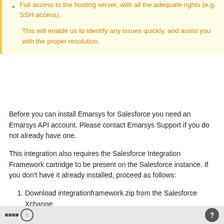Full access to the hosting server, with all the adequate rights (e.g. SSH access).
This will enable us to identify any issues quickly, and assist you with the proper resolution.
Before you can install Emarsys for Salesforce you need an Emarsys API account. Please contact Emarsys Support if you do not already have one.
This integration also requires the Salesforce Integration Framework cartridge to be present on the Salesforce instance. If you don't have it already installed, proceed as follows:
Download integrationframework.zip from the Salesforce Xchange.